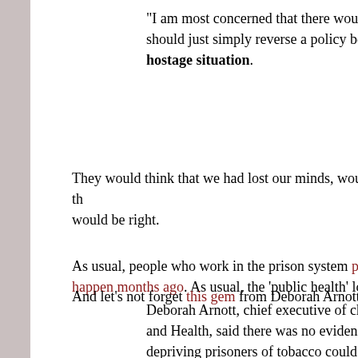"I am most concerned that there would be any suggestion that we should just simply reverse a policy because there's a hostage situation.
They would think that we had lost our minds, wouldn't they? And they would be right.
As usual, people who work in the prison system predicted this would happen months ago. As usual, the 'public health' lobbyis...
And let's not forget this gem from Deborah Arnott:
Deborah Arnott, chief executive of charity Action o... and Health, said there was no evidence to support... depriving prisoners of tobacco could lead to riots.